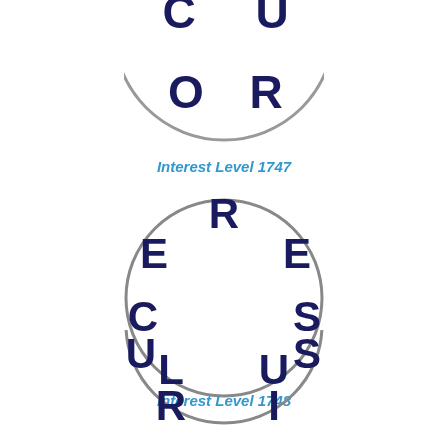[Figure (illustration): Circle puzzle with letters C, O, R, U arranged around the ring - top portion cut off]
Interest Level 1747
[Figure (illustration): Circle puzzle with letters E, R, E, E, C, S, L, U arranged around the ring]
Interest Level 1748
[Figure (illustration): Circle puzzle with letters N, O, H, U, S, R, I arranged around the ring - bottom portion cut off]